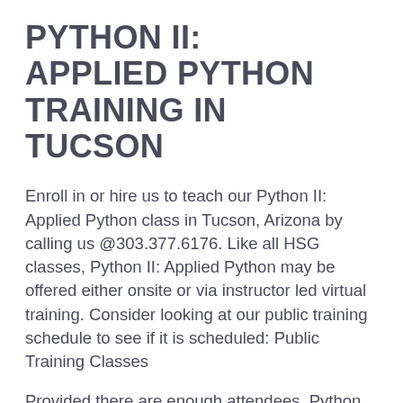PYTHON II: APPLIED PYTHON TRAINING IN TUCSON
Enroll in or hire us to teach our Python II: Applied Python class in Tucson, Arizona by calling us @303.377.6176. Like all HSG classes, Python II: Applied Python may be offered either onsite or via instructor led virtual training. Consider looking at our public training schedule to see if it is scheduled: Public Training Classes
Provided there are enough attendees, Python II: Applied Python may be taught at one of our local training